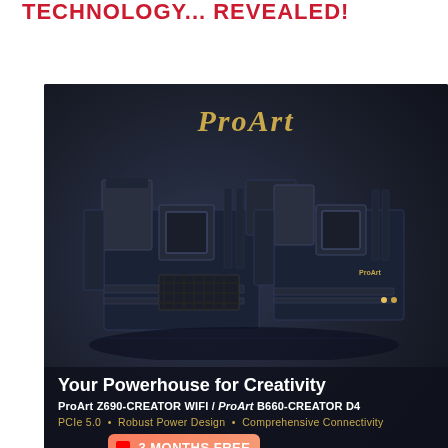TECHNOLOGY... REVEALED!
[Figure (illustration): ASUS ProArt advertisement showing two ProArt Z690-CREATOR WIFI and ProArt B660-CREATOR D4 motherboards on a dark dramatic background. The ad includes the ProArt brand name in gold, the tagline 'Your Powerhouse for Creativity', model names, features (PCIe 5.0, Robust Power Design, Comprehensive Connectivity), and an Adobe Creative Cloud 3 Months Free badge.]